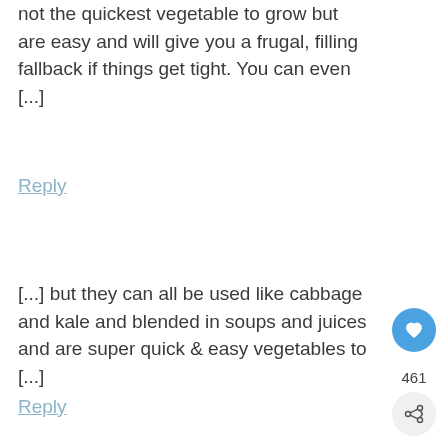not the quickest vegetable to grow but are easy and will give you a frugal, filling fallback if things get tight. You can even [...]
Reply
[...] but they can all be used like cabbage and kale and blended in soups and juices and are super quick & easy vegetables to [...]
Reply